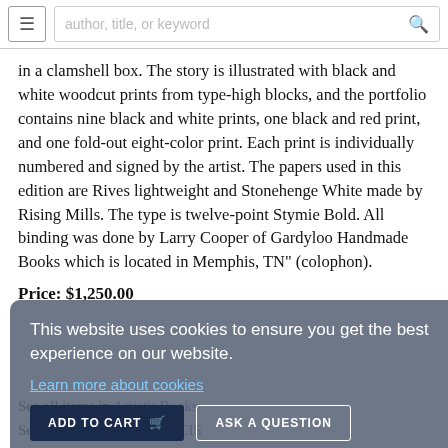author, title, or keyword
in a clamshell box. The story is illustrated with black and white woodcut prints from type-high blocks, and the portfolio contains nine black and white prints, one black and red print, and one fold-out eight-color print. Each print is individually numbered and signed by the artist. The papers used in this edition are Rives lightweight and Stonehenge White made by Rising Mills. The type is twelve-point Stymie Bold. All binding was done by Larry Cooper of Gardyloo Handmade Books which is located in Memphis, TN" (colophon).
Price: $1,250.00
This website uses cookies to ensure you get the best experience on our website.
Learn more about cookies
ADD TO CART
ASK A QUESTION
Share via email
ACCEPT COOKIES
See all items in Artist's Books
See all items by Ke FRANCIS